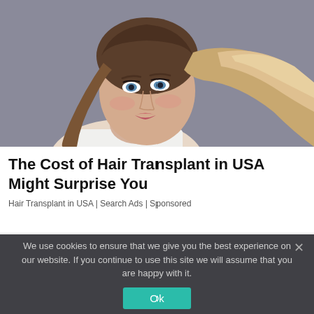[Figure (photo): Woman with long flowing blonde/brown hair against a grey background, glamour style beauty photo]
The Cost of Hair Transplant in USA Might Surprise You
Hair Transplant in USA | Search Ads | Sponsored
We use cookies to ensure that we give you the best experience on our website. If you continue to use this site we will assume that you are happy with it.